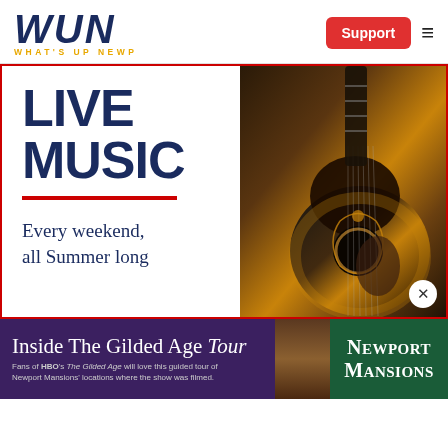[Figure (logo): WUN What's Up Newp logo with blue bold italic letters and gold subtitle]
[Figure (illustration): Red Support button and hamburger menu icon]
[Figure (infographic): Live music advertisement banner with guitar photo. Text: LIVE MUSIC, Every weekend, all Summer long. Red border and red underline rule.]
[Figure (photo): Close-up photo of an acoustic guitar with decorative inlay, sunburst finish]
[Figure (infographic): Inside The Gilded Age Tour advertisement banner. Newport Mansions logo on green background. Purple background with text: Inside The Gilded Age Tour, Fans of HBO's The Gilded Age will love this guided tour of Newport Mansions' locations where the show was filmed.]